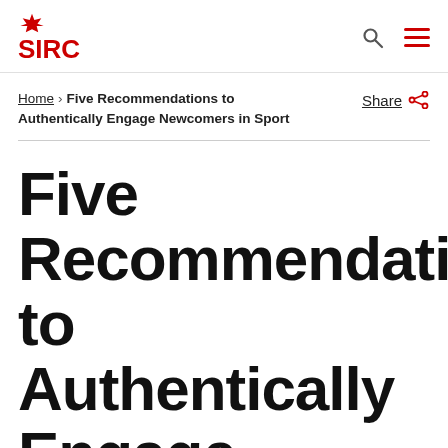SIRC
Home > Five Recommendations to Authentically Engage Newcomers in Sport
Share
Five Recommendations to Authentically Engage